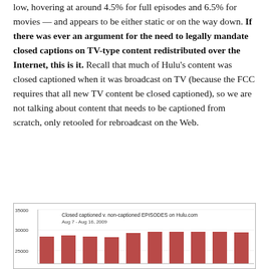low, hovering at around 4.5% for full episodes and 6.5% for movies — and appears to be either static or on the way down. If there was ever an argument for the need to legally mandate closed captions on TV-type content redistributed over the Internet, this is it. Recall that much of Hulu's content was closed captioned when it was broadcast on TV (because the FCC requires that all new TV content be closed captioned), so we are not talking about content that needs to be captioned from scratch, only retooled for rebroadcast on the Web.
[Figure (bar-chart): Bar chart showing closed captioned vs non-captioned episodes on Hulu.com from Aug 7 to Aug 16, 2009. Y-axis shows values around 25000-35000. Multiple bars visible in reddish-brown color.]